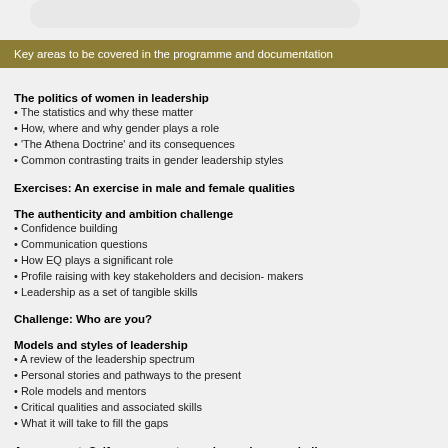Key areas to be covered in the programme and documentation
The politics of women in leadership
The statistics and why these matter
How, where and why gender plays a role
'The Athena Doctrine' and its consequences
Common contrasting traits in gender leadership styles
Exercises: An exercise in male and female qualities
The authenticity and ambition challenge
Confidence building
Communication questions
How EQ plays a significant role
Profile raising with key stakeholders and decision- makers
Leadership as a set of tangible skills
Challenge: Who are you?
Models and styles of leadership
A review of the leadership spectrum
Personal stories and pathways to the present
Role models and mentors
Critical qualities and associated skills
What it will take to fill the gaps
Assessment: Self-assessment exercise and group challenge
Actively approaching the barriers
External and internal barriers
Politics, pitfalls, networks; the selection process
Taking control of your own progression